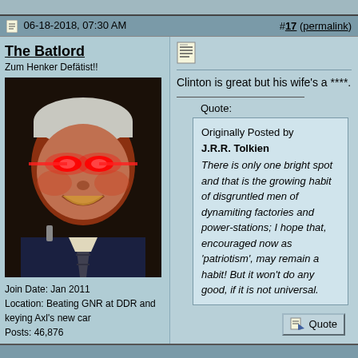06-18-2018, 07:30 AM  #17 (permalink)
The Batlord
Zum Henker Defätist!!
[Figure (photo): Avatar image of a person with red laser eyes effect, smiling]
Join Date: Jan 2011
Location: Beating GNR at DDR and keying Axl's new car
Posts: 46,876
Clinton is great but his wife's a ****.
Quote:
Originally Posted by J.R.R. Tolkien
There is only one bright spot and that is the growing habit of disgruntled men of dynamiting factories and power-stations; I hope that, encouraged now as 'patriotism', may remain a habit! But it won't do any good, if it is not universal.